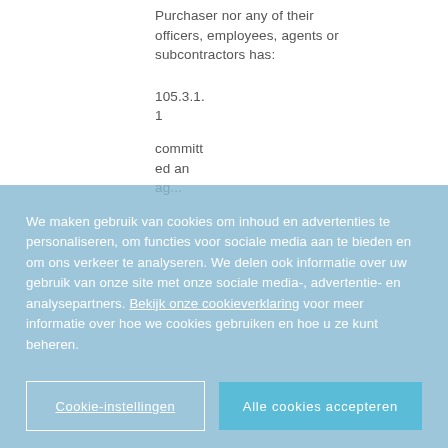Purchaser nor any of their officers, employees, agents or subcontractors has:
105.3.1.1 committed an ag...
We maken gebruik van cookies om inhoud en advertenties te personaliseren, om functies voor sociale media aan te bieden en om ons verkeer te analyseren. We delen ook informatie over uw gebruik van onze site met onze sociale media-, advertentie- en analysepartners. Bekijk onze cookieverklaring voor meer informatie over hoe we cookies gebruiken en hoe u ze kunt beheren.
Cookie-instellingen
Alle cookies accepteren